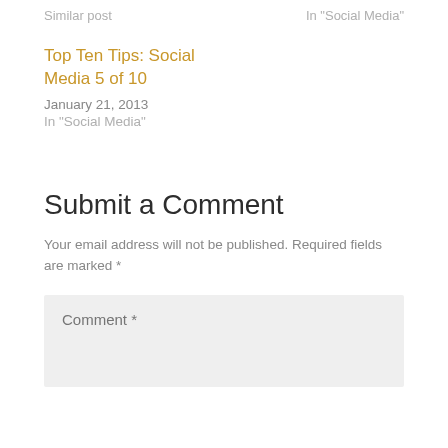Similar post
In "Social Media"
Top Ten Tips: Social Media 5 of 10
January 21, 2013
In "Social Media"
Submit a Comment
Your email address will not be published. Required fields are marked *
Comment *